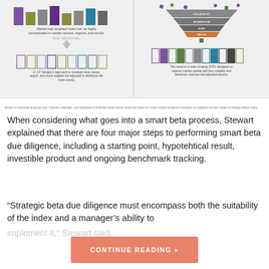[Figure (infographic): Left panel: Bar chart showing market-cap weighted index concentration, arrow labeled RISK WEIGHTING pointing down, then second bar chart showing risk-distributed approach. Caption: Market-cap weighted index can be highly concentrated in certain sectors, regions, and stocks. In J.P. Morgan's approach to strategic beta, sector, region, and stock weights are adjusted to distribute risk more evenly.]
[Figure (infographic): Right panel: Funnel diagram showing VOLATILITY, MOMENTUM, SIZE, VALUE layers filtering down to a bar chart of equity ETFs. Caption: The result is a suite of equity ETFs designed to capture market upside with less volatility and therefore, improve risk-adjusted returns.]
Shown for illustrative purposes only. Opinions, estimates, and statements of financial market trends shown are based on current market conditions constitute our judgment and are subject to change without notice.
When considering what goes into a smart beta process, Stewart explained that there are four major steps to performing smart beta due diligence, including a starting point, hypotehtical result, investible product and ongoing benchmark tracking.
“Strategic beta due diligence must encompass both the suitability of the index and a manager’s ability to implement it,” Stewart said.